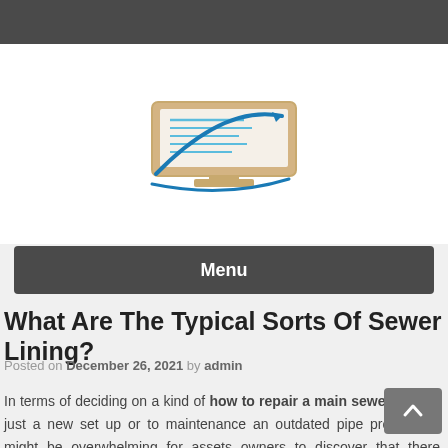[Figure (logo): A logo showing a monitor/computer screen with document lines and a blue swoosh arrow, rendered in tan/gold and blue colors]
Menu
What Are The Typical Sorts Of Sewer Lining?
Posted on December 26, 2021 by admin
In terms of deciding on a kind of how to repair a main sewer line for just a new set up or to maintenance an outdated pipe program, it might be overwhelming for assets owners to discover that there a us distinctive merchandise in the marketplace. As fixing the liner of pipes